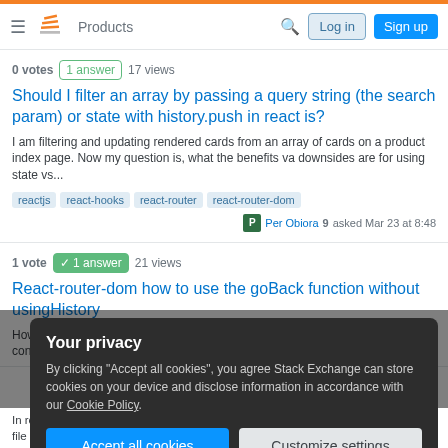Stack Overflow navigation bar with Products, Log in, Sign up
0 votes | 1 answer | 17 views
Should I filter an array by passing a query string (the search param) or state with history.push in react is?
I am filtering and updating rendered cards from an array of cards on a product index page. Now my question is, what the benefits va downsides are for using state vs...
reactjs  react-hooks  react-router  react-router-dom
Per Obiora 9 asked Mar 23 at 8:48
1 vote | 1 answer | 21 views
React-router-dom how to use the goBack function without usingHistory
How can I simulate pressing the "back" button in the browser from the code? const
Your privacy
By clicking "Accept all cookies", you agree Stack Exchange can store cookies on your device and disclose information in accordance with our Cookie Policy.
Accept all cookies
Customize settings
In routing a page to the root, but its showing up as a blank page, no matter what js file I use. Not sure whats wrong, havent used react since last year but looks like